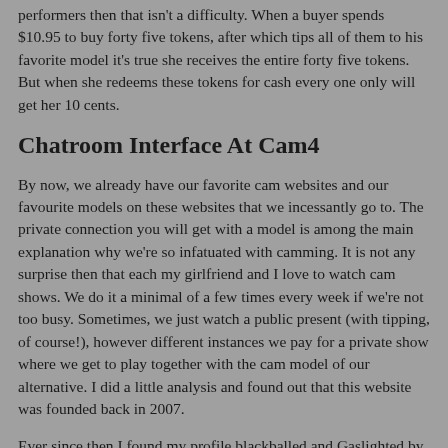performers then that isn't a difficulty. When a buyer spends $10.95 to buy forty five tokens, after which tips all of them to his favorite model it's true she receives the entire forty five tokens. But when she redeems these tokens for cash every one only will get her 10 cents.
Chatroom Interface At Cam4
By now, we already have our favorite cam websites and our favourite models on these websites that we incessantly go to. The private connection you will get with a model is among the main explanation why we're so infatuated with camming. It is not any surprise then that each my girlfriend and I love to watch cam shows. We do it a minimal of a few times every week if we're not too busy. Sometimes, we just watch a public present (with tipping, of course!), however different instances we pay for a private show where we get to play together with the cam model of our alternative. I did a little analysis and found out that this website was founded back in 2007.
Ever since then I found my profile blackballed and Gaslighted by every Camsupporter on the matter. Emma one of many Camsupporters took it upon herself to threaten to dam me without reason. I requested for a Non-filers kind because I did not have a W-9 type to offer. Emma turned angry as an alternative of using